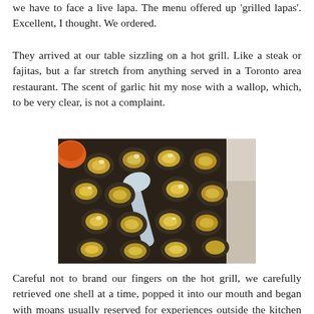we have to face a live lapa. The menu offered up 'grilled lapas'. Excellent, I thought. We ordered.
They arrived at our table sizzling on a hot grill. Like a steak or fajitas, but a far stretch from anything served in a Toronto area restaurant. The scent of garlic hit my nose with a wallop, which, to be very clear, is not a complaint.
[Figure (photo): Overhead view of grilled lapas (limpets) on a dark grill tray, topped with garlic and butter, with a metal spatula resting on the tray.]
Careful not to brand our fingers on the hot grill, we carefully retrieved one shell at a time, popped it into our mouth and began with moans usually reserved for experiences outside the kitchen table. Things like, wow, and oh my god, that is soooo good, were stated.